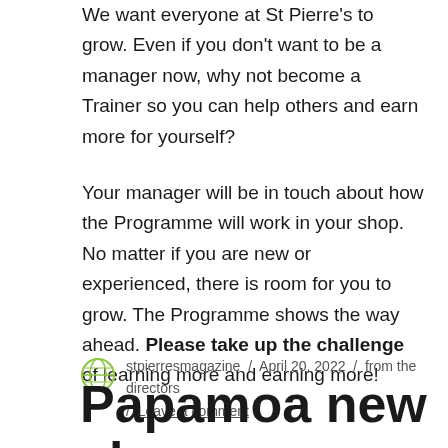We want everyone at St Pierre's to grow. Even if you don't want to be a manager now, why not become a Trainer so you can help others and earn more for yourself?
Your manager will be in touch about how the Programme will work in your shop. No matter if you are new or experienced, there is room for you to grow. The Programme shows the way ahead. Please take up the challenge of learning more and earning more!
stpierresmagazine / April 20, 2022 / from the directors / Leave a comment
Papamoa new shop